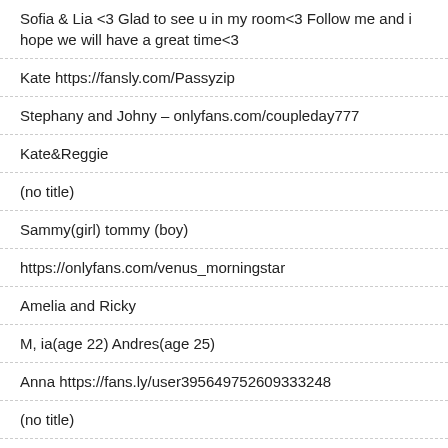Sofia & Lia <3 Glad to see u in my room<3 Follow me and i hope we will have a great time<3
Kate https://fansly.com/Passyzip
Stephany and Johny – onlyfans.com/coupleday777
Kate&Reggie
(no title)
Sammy(girl) tommy (boy)
https://onlyfans.com/venus_morningstar
Amelia and Ricky
M, ia(age 22) Andres(age 25)
Anna https://fans.ly/user395649752609333248
(no title)
maya onlyfans.com/secretary_bj ,,
Hello! We are Tiana and Kamilla | Victoria and Sophie | Alison and Kami...